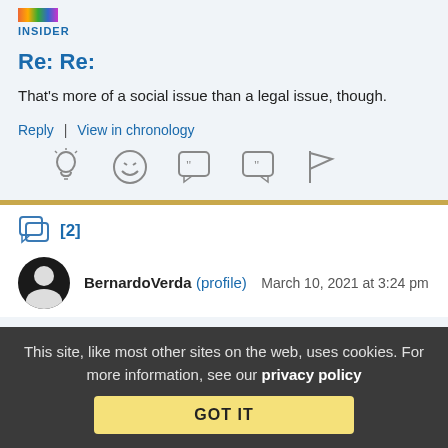INSIDER
Re: Re:
That's more of a social issue than a legal issue, though.
Reply | View in chronology
[Figure (infographic): Row of five icon buttons: lightbulb (insightful), laughing emoji (funny), left-quote speech bubble, right-quote speech bubble, flag]
[Figure (infographic): Chat/reply icon with [2] replies count in blue]
BernardoVerda (profile) March 10, 2021 at 3:24 pm
This site, like most other sites on the web, uses cookies. For more information, see our privacy policy
GOT IT